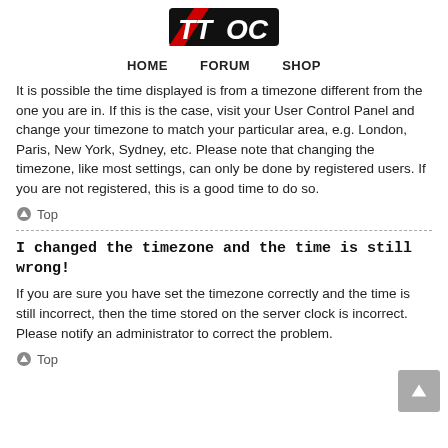[Figure (logo): TTOC logo with red and black styling, italic TT letters followed by OC on a black background with red accent]
HOME   FORUM   SHOP
It is possible the time displayed is from a timezone different from the one you are in. If this is the case, visit your User Control Panel and change your timezone to match your particular area, e.g. London, Paris, New York, Sydney, etc. Please note that changing the timezone, like most settings, can only be done by registered users. If you are not registered, this is a good time to do so.
Top
I changed the timezone and the time is still wrong!
If you are sure you have set the timezone correctly and the time is still incorrect, then the time stored on the server clock is incorrect. Please notify an administrator to correct the problem.
Top